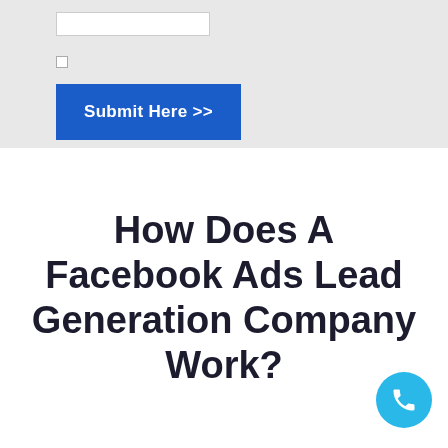[Figure (screenshot): Top section with light grey background showing a partial form with an input field, a checkbox row, and a blue 'Submit Here >>' button]
How Does A Facebook Ads Lead Generation Company Work?
[Figure (other): Cyan circular phone call button in bottom-right corner]